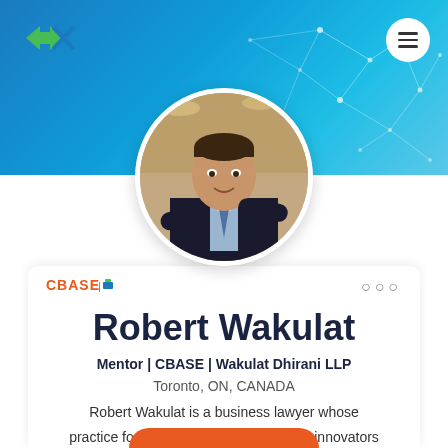[Figure (photo): Blue gradient network/technology banner with connected nodes and lines pattern in the background]
[Figure (photo): Circular profile photo of Robert Wakulat, a man in a dark suit with arms crossed, smiling, at an event]
[Figure (logo): CBASE logo in orange/red text with small icon]
Robert Wakulat
Mentor | CBASE | Wakulat Dhirani LLP
Toronto, ON, CANADA
Robert Wakulat is a business lawyer whose practice focuses on working with social innovators and entrepreneurs